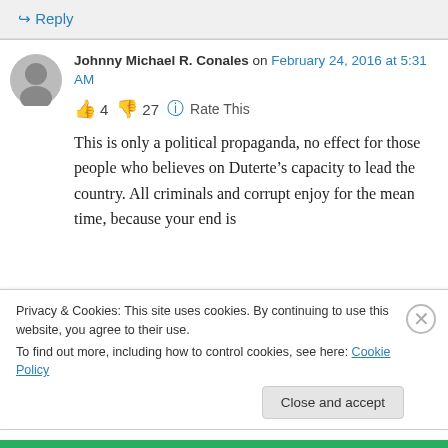↳ Reply
Johnny Michael R. Conales on February 24, 2016 at 5:31 AM
👍 4 👎 27 ℹ Rate This
This is only a political propaganda, no effect for those people who believes on Duterte's capacity to lead the country. All criminals and corrupt enjoy for the mean time, because your end is
Privacy & Cookies: This site uses cookies. By continuing to use this website, you agree to their use.
To find out more, including how to control cookies, see here: Cookie Policy
Close and accept